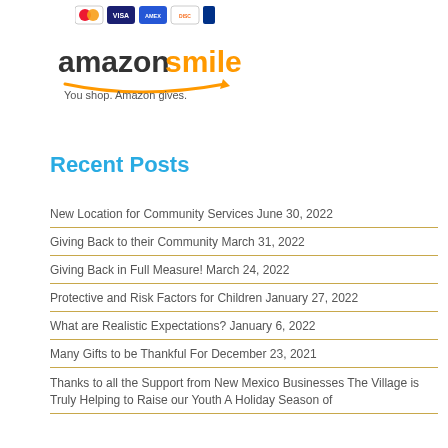[Figure (logo): Credit card icons (MasterCard, Visa, Amex, etc.) at top]
[Figure (logo): Amazon Smile logo with tagline: You shop. Amazon gives.]
Recent Posts
New Location for Community Services June 30, 2022
Giving Back to their Community March 31, 2022
Giving Back in Full Measure! March 24, 2022
Protective and Risk Factors for Children January 27, 2022
What are Realistic Expectations? January 6, 2022
Many Gifts to be Thankful For December 23, 2021
Thanks to all the Support from New Mexico Businesses The Village is Truly Helping to Raise our Youth A Holiday Season of